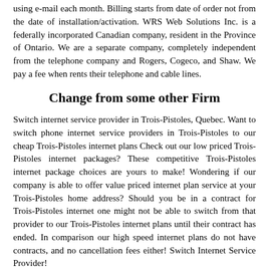using e-mail each month. Billing starts from date of order not from the date of installation/activation. WRS Web Solutions Inc. is a federally incorporated Canadian company, resident in the Province of Ontario. We are a separate company, completely independent from the telephone company and Rogers, Cogeco, and Shaw. We pay a fee when rents their telephone and cable lines.
Change from some other Firm
Switch internet service provider in Trois-Pistoles, Quebec. Want to switch phone internet service providers in Trois-Pistoles to our cheap Trois-Pistoles internet plans Check out our low priced Trois-Pistoles internet packages? These competitive Trois-Pistoles internet package choices are yours to make! Wondering if our company is able to offer value priced internet plan service at your Trois-Pistoles home address? Should you be in a contract for Trois-Pistoles internet one might not be able to switch from that provider to our Trois-Pistoles internet plans until their contract has ended. In comparison our high speed internet plans do not have contracts, and no cancellation fees either! Switch Internet Service Provider!
Cheap Trois-Pistoles DSL Internet